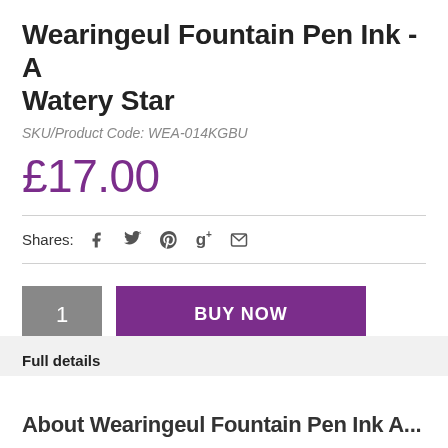Wearingeul Fountain Pen Ink - A Watery Star
SKU/Product Code: WEA-014KGBU
£17.00
Shares: f  (twitter)  (pinterest)  g+  (email)
1  BUY NOW
Full details
About Wearingeul Fountain Pen Ink A...